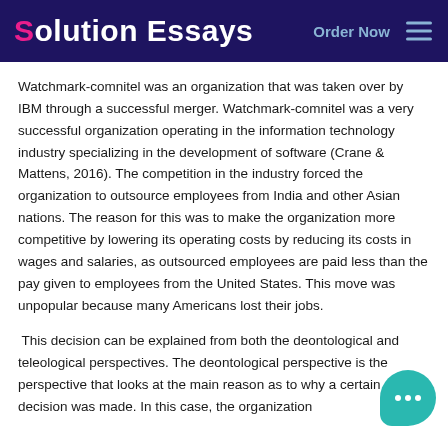Solution Essays   Order Now
Watchmark-comnitel was an organization that was taken over by IBM through a successful merger. Watchmark-comnitel was a very successful organization operating in the information technology industry specializing in the development of software (Crane & Mattens, 2016). The competition in the industry forced the organization to outsource employees from India and other Asian nations. The reason for this was to make the organization more competitive by lowering its operating costs by reducing its costs in wages and salaries, as outsourced employees are paid less than the pay given to employees from the United States. This move was unpopular because many Americans lost their jobs.
This decision can be explained from both the deontological and teleological perspectives. The deontological perspective is the perspective that looks at the main reason as to why a certain decision was made. In this case, the organization